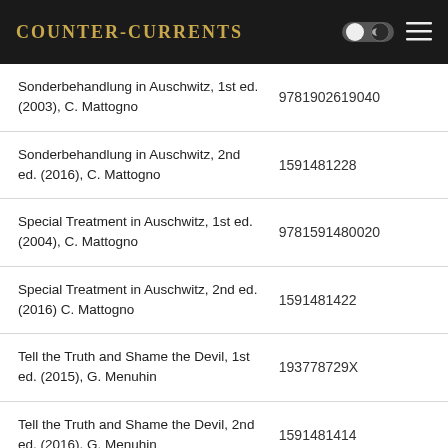Counter-Currents
| Title | ISBN |
| --- | --- |
| Sonderbehandlung in Auschwitz, 1st ed. (2003), C. Mattogno | 9781902619040 |
| Sonderbehandlung in Auschwitz, 2nd ed. (2016), C. Mattogno | 1591481228 |
| Special Treatment in Auschwitz, 1st ed. (2004), C. Mattogno | 9781591480020 |
| Special Treatment in Auschwitz, 2nd ed. (2016) C. Mattogno | 1591481422 |
| Tell the Truth and Shame the Devil, 1st ed. (2015), G. Menuhin | 193778729X |
| Tell the Truth and Shame the Devil, 2nd ed. (2016), G. Menuhin | 1591481414 |
| The “Extermination Camps” of “Aktion Reinhardt”, 1st ed. | 9781591480358 |